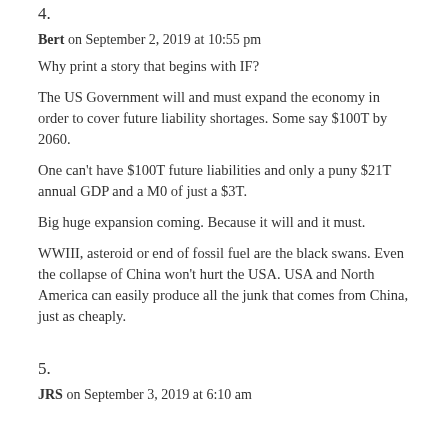4.
Bert on September 2, 2019 at 10:55 pm
Why print a story that begins with IF?
The US Government will and must expand the economy in order to cover future liability shortages. Some say $100T by 2060.
One can't have $100T future liabilities and only a puny $21T annual GDP and a M0 of just a $3T.
Big huge expansion coming. Because it will and it must.
WWIII, asteroid or end of fossil fuel are the black swans. Even the collapse of China won't hurt the USA. USA and North America can easily produce all the junk that comes from China, just as cheaply.
5.
JRS on September 3, 2019 at 6:10 am